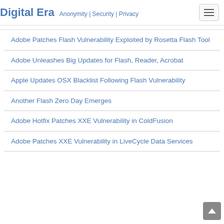Digital Era  Anonymity | Security | Privacy
Adobe Patches Flash Vulnerability Exploited by Rosetta Flash Tool
Adobe Unleashes Big Updates for Flash, Reader, Acrobat
Apple Updates OSX Blacklist Following Flash Vulnerability
Another Flash Zero Day Emerges
Adobe Hotfix Patches XXE Vulnerability in ColdFusion
Adobe Patches XXE Vulnerability in LiveCycle Data Services